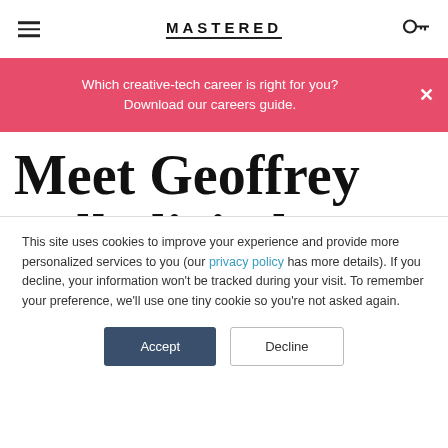MASTERED
Which creative-tech career is right for you? Download our careers guide.
Meet Geoffrey Bell, digital design
This site uses cookies to improve your experience and provide more personalized services to you (our privacy policy has more details). If you decline, your information won't be tracked during your visit. To remember your preference, we'll use one tiny cookie so you're not asked again.